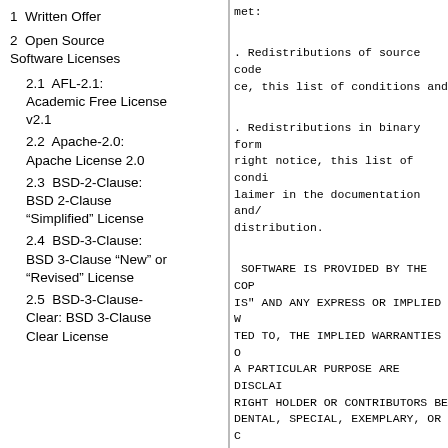1  Written Offer
2  Open Source Software Licenses
2.1  AFL-2.1: Academic Free License v2.1
2.2  Apache-2.0: Apache License 2.0
2.3  BSD-2-Clause: BSD 2-Clause "Simplified" License
2.4  BSD-3-Clause: BSD 3-Clause "New" or "Revised" License
2.5  BSD-3-Clause-Clear: BSD 3-Clause Clear License
met:

. Redistributions of source code ce, this list of conditions and

. Redistributions in binary form right notice, this list of condi laimer in the documentation and/ distribution.

 SOFTWARE IS PROVIDED BY THE COP IS" AND ANY EXPRESS OR IMPLIED W TED TO, THE IMPLIED WARRANTIES O A PARTICULAR PURPOSE ARE DISCLAI RIGHT HOLDER OR CONTRIBUTORS BE DENTAL, SPECIAL, EXEMPLARY, OR C NOT LIMITED TO, PROCUREMENT OF S  OF USE, DATA, OR PROFITS; OR BL ED AND ON ANY THEORY OF LIABILIT ILITY, OR TORT (INCLUDING NEGLIG WAY OUT OF THE USE OF THIS SOFTW IBILITY OF SUCH DAMAGE.